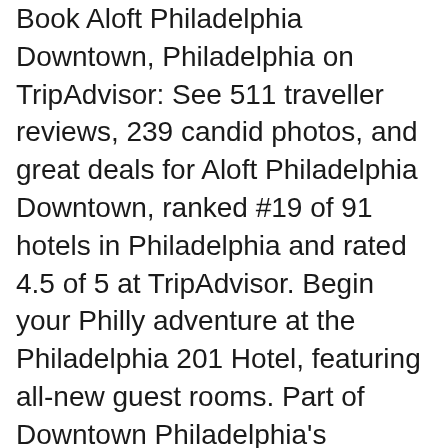Book Aloft Philadelphia Downtown, Philadelphia on TripAdvisor: See 511 traveller reviews, 239 candid photos, and great deals for Aloft Philadelphia Downtown, ranked #19 of 91 hotels in Philadelphia and rated 4.5 of 5 at TripAdvisor. Begin your Philly adventure at the Philadelphia 201 Hotel, featuring all-new guest rooms. Part of Downtown Philadelphia's prestigious Logan Square, our hotel is two blocks from the Pennsylvania Convention Center and walking distance to Love Park and the Philadelphia Museum of Art.
Guests at the Philadelphia 201 Hotel can enjoy in-room cable TV, a tea/coffee maker, WiFi and a work desk.